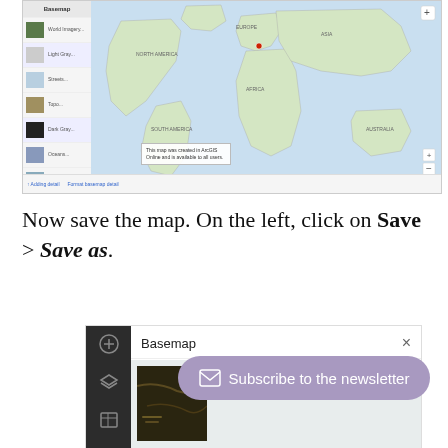[Figure (screenshot): Screenshot of a GIS web map application showing a world map with a left sidebar containing layer thumbnails and labels. A tooltip/popup is visible over the map. Navigation controls are at the bottom.]
Now save the map. On the left, click on Save > Save as.
[Figure (screenshot): Screenshot of a map application UI showing a dark left sidebar with icons (plus, layers, table) and a Basemap panel with a close button (x). A map thumbnail is visible. A purple 'Subscribe to the newsletter' button overlays the bottom right.]